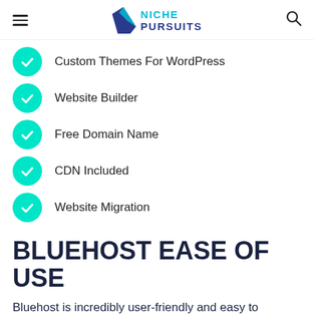Niche Pursuits
Custom Themes For WordPress
Website Builder
Free Domain Name
CDN Included
Website Migration
BLUEHOST EASE OF USE
Bluehost is incredibly user-friendly and easy to